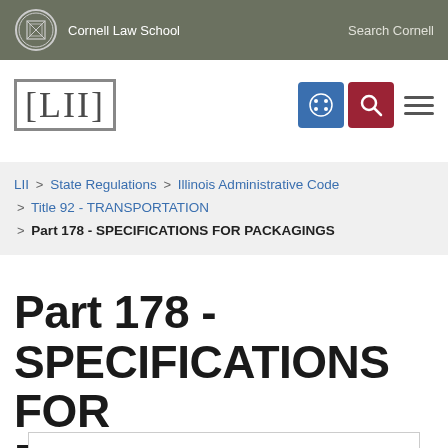Cornell Law School  Search Cornell
[Figure (logo): LII Legal Information Institute logo with navigation icons]
LII > State Regulations > Illinois Administrative Code > Title 92 - TRANSPORTATION > Part 178 - SPECIFICATIONS FOR PACKAGINGS
Part 178 - SPECIFICATIONS FOR PACKAGINGS